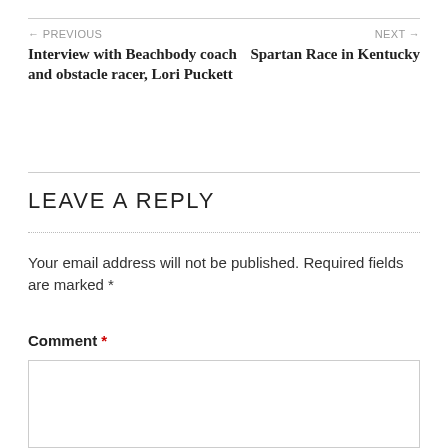← PREVIOUS
Interview with Beachbody coach and obstacle racer, Lori Puckett
NEXT →
Spartan Race in Kentucky
LEAVE A REPLY
Your email address will not be published. Required fields are marked *
Comment *